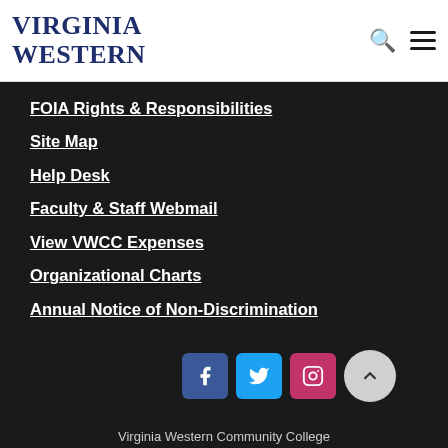[Figure (logo): Virginia Western community college logo — text-based logo with serif uppercase letters in dark navy blue]
FOIA Rights & Responsibilities
Site Map
Help Desk
Faculty & Staff Webmail
View VWCC Expenses
Organizational Charts
Annual Notice of Non-Discrimination
[Figure (infographic): Social media icons: Facebook (blue), Twitter (light blue), Instagram (pink/red), and a scroll-to-top button (grey circle with up arrow)]
Virginia Western Community College